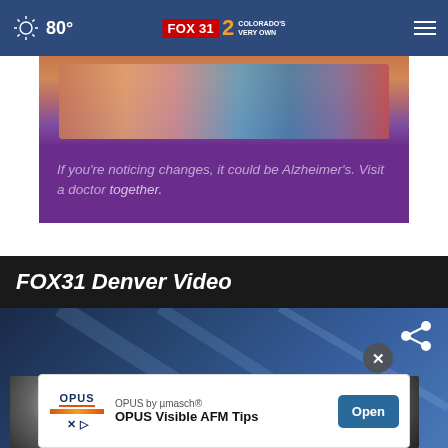80° FOX31 2 COLORADO'S VERY OWN
[Figure (photo): Advertisement banner showing people holding hands with purple background and text: If you're noticing changes, it could be Alzheimer's. Visit a doctor together.]
FOX31 Denver Video
[Figure (screenshot): FOX31 Denver video section with blue background, news anchor thumbnails, share icon, and close button]
[Figure (photo): OPUS by µmasch® advertisement banner with Open button — OPUS Visible AFM Tips]